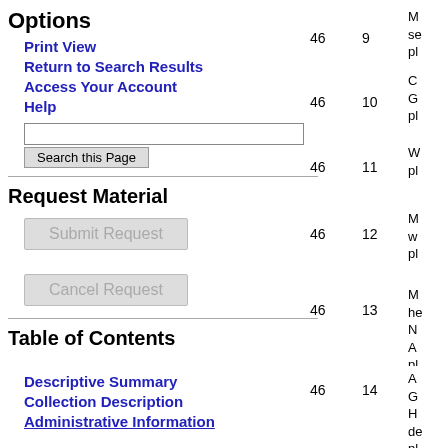Options
Print View
Return to Search Results
Access Your Account
Help
Request Material
Submit Request
Cancel Request
Table of Contents
Descriptive Summary
Collection Description
Administrative Information
46  9  M se pl
46  10  C G pl
46  11  W pl
46  12  M w pl
46  13  M h N A pl
46  14  A G H de pl
46  15  M O pl